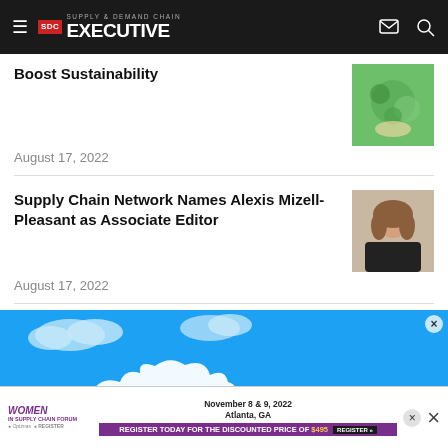Supply & Demand Chain Executive
Boost Sustainability
August 17, 2022
Supply Chain Network Names Alexis Mizell-Pleasant as Associate Editor
August 17, 2022
[Figure (screenshot): Twitter advertisement banner with blue sky and clouds background showing the Twitter bird logo]
[Figure (infographic): Women in Supply Chain Forum advertisement: November 8 & 9, 2022, Atlanta, GA. Register Today for the Discounted Price of $495.]